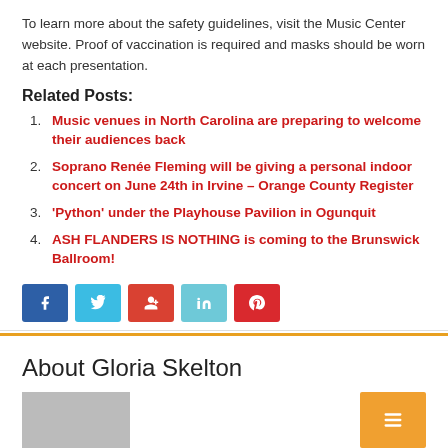To learn more about the safety guidelines, visit the Music Center website. Proof of vaccination is required and masks should be worn at each presentation.
Related Posts:
Music venues in North Carolina are preparing to welcome their audiences back
Soprano Renée Fleming will be giving a personal indoor concert on June 24th in Irvine – Orange County Register
'Python' under the Playhouse Pavilion in Ogunquit
ASH FLANDERS IS NOTHING is coming to the Brunswick Ballroom!
[Figure (infographic): Row of five social media share buttons: Facebook (blue), Twitter (light blue), Google+ (red/orange), LinkedIn (light teal), Pinterest (red)]
About Gloria Skelton
[Figure (photo): Gray placeholder image box at bottom left, with orange button at right]